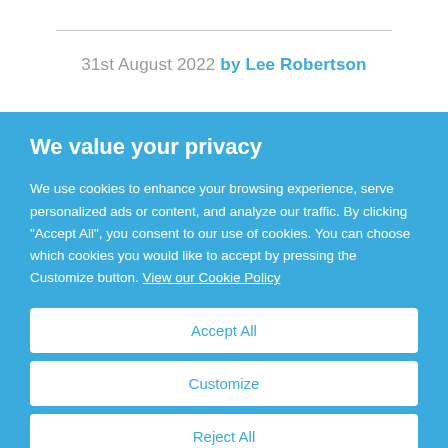31st August 2022 by Lee Robertson
We value your privacy
We use cookies to enhance your browsing experience, serve personalized ads or content, and analyze our traffic. By clicking "Accept All", you consent to our use of cookies. You can choose which cookies you would like to accept by pressing the Customize button. View our Cookie Policy
Accept All
Customize
Reject All